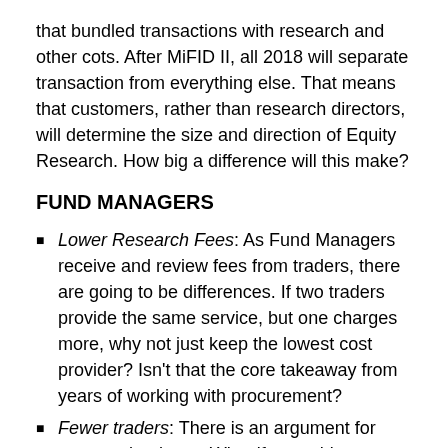that bundled transactions with research and other cots. After MiFID II, all 2018 will separate transaction from everything else. That means that customers, rather than research directors, will determine the size and direction of Equity Research. How big a difference will this make?
FUND MANAGERS
Lower Research Fees: As Fund Managers receive and review fees from traders, there are going to be differences. If two traders provide the same service, but one charges more, why not just keep the lowest cost provider? Isn't that the core takeaway from years of working with procurement?
Fewer traders: There is an argument for some redundancy. What if something goes wrong? You need more than just one trader. You may need two or three,